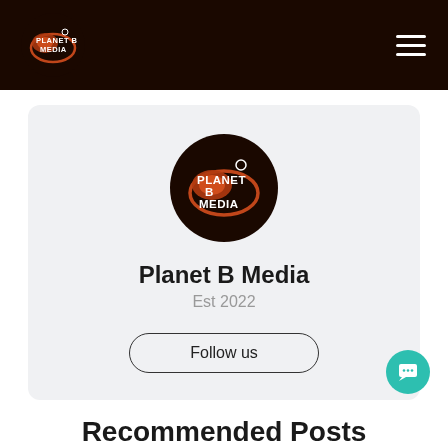Planet B Media
[Figure (logo): Planet B Media circular logo on dark background with orange planet graphic]
Planet B Media
Est 2022
Follow us
[Figure (illustration): Teal chat bubble icon in bottom right corner]
Recommended Posts